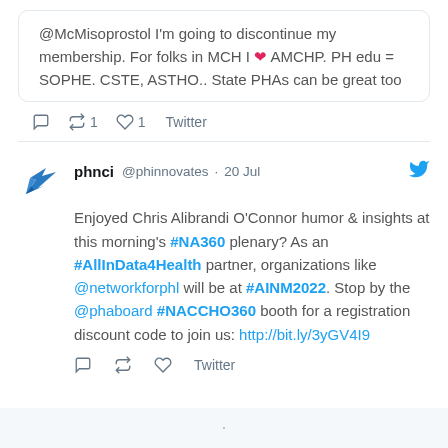@McMisoprostol I'm going to discontinue my membership. For folks in MCH I ❤️ AMCHP. PH edu = SOPHE. CSTE, ASTHO.. State PHAs can be great too
Retweet 1  Like 1  Twitter
phnci @phinnovates · 20 Jul
Enjoyed Chris Alibrandi O'Connor humor & insights at this morning's #NA360 plenary? As an #AllInData4Health partner, organizations like @networkforphl will be at #AINM2022. Stop by the @phaboard #NACCHO360 booth for a registration discount code to join us: http://bit.ly/3yGV4I9
Twitter